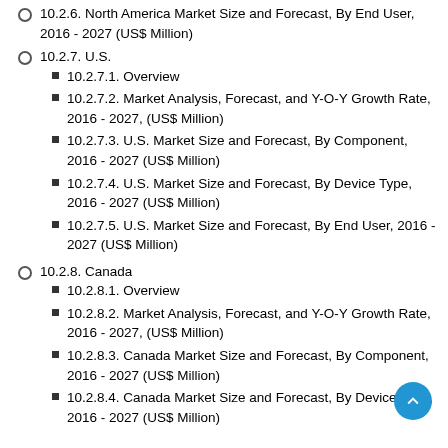10.2.6. North America Market Size and Forecast, By End User, 2016 - 2027 (US$ Million)
10.2.7. U.S.
10.2.7.1. Overview
10.2.7.2. Market Analysis, Forecast, and Y-O-Y Growth Rate, 2016 - 2027, (US$ Million)
10.2.7.3. U.S. Market Size and Forecast, By Component, 2016 - 2027 (US$ Million)
10.2.7.4. U.S. Market Size and Forecast, By Device Type, 2016 - 2027 (US$ Million)
10.2.7.5. U.S. Market Size and Forecast, By End User, 2016 - 2027 (US$ Million)
10.2.8. Canada
10.2.8.1. Overview
10.2.8.2. Market Analysis, Forecast, and Y-O-Y Growth Rate, 2016 - 2027, (US$ Million)
10.2.8.3. Canada Market Size and Forecast, By Component, 2016 - 2027 (US$ Million)
10.2.8.4. Canada Market Size and Forecast, By Device Type, 2016 - 2027 (US$ Million)